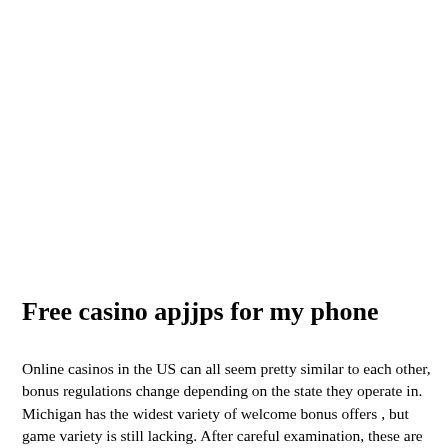Free casino apjjps for my phone
Online casinos in the US can all seem pretty similar to each other, bonus regulations change depending on the state they operate in. Michigan has the widest variety of welcome bonus offers , but game variety is still lacking. After careful examination, these are the Michigan casino winners for each category: How We Picked